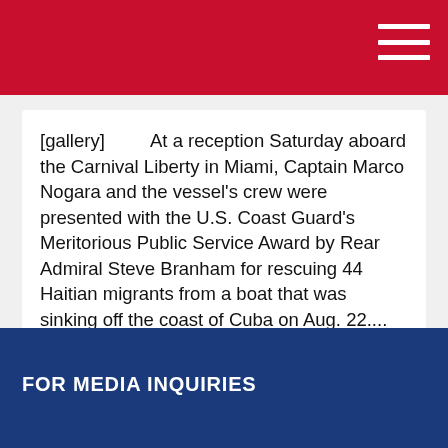[gallery]      At a reception Saturday aboard the Carnival Liberty in Miami, Captain Marco Nogara and the vessel's crew were presented with the U.S. Coast Guard's Meritorious Public Service Award by Rear Admiral Steve Branham for rescuing 44 Haitian migrants from a boat that was sinking off the coast of Cuba on Aug. 22....
FOR MEDIA INQUIRIES